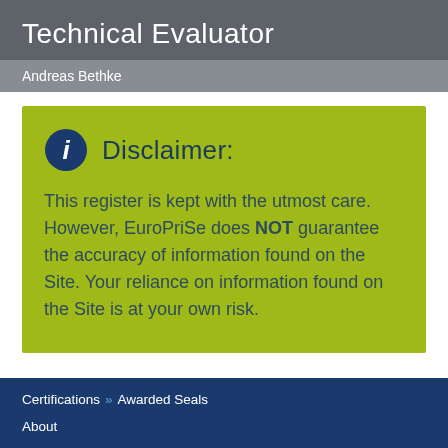Technical Evaluator
Andreas Bethke
Disclaimer:
This register is kept with the utmost care. However, EuroPriSe does NOT guarantee the accuracy of information found on the Site. Your reliance on information found on the Site is at your own risk.
Certifications >> Awarded Seals
About